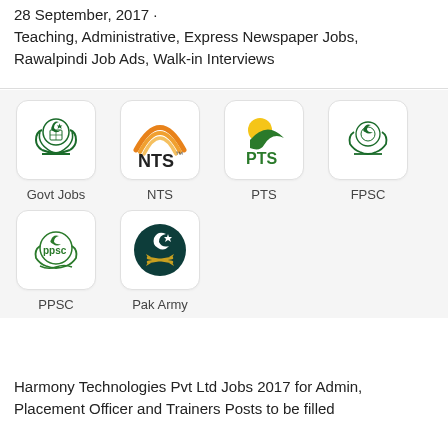28 September, 2017 · Teaching, Administrative, Express Newspaper Jobs, Rawalpindi Job Ads, Walk-in Interviews
[Figure (logo): Govt Jobs logo - Pakistan government emblem in green]
Govt Jobs
[Figure (logo): NTS logo - orange arc stripes with NTS text]
NTS
[Figure (logo): PTS logo - yellow sun with green swoosh and PTS text]
PTS
[Figure (logo): FPSC logo - Pakistan government emblem in green]
FPSC
[Figure (logo): PPSC logo - green circular emblem]
PPSC
[Figure (logo): Pak Army logo - dark teal circle with crescent and crossed swords]
Pak Army
Harmony Technologies Pvt Ltd Jobs 2017 for Admin, Placement Officer and Trainers Posts to be filled